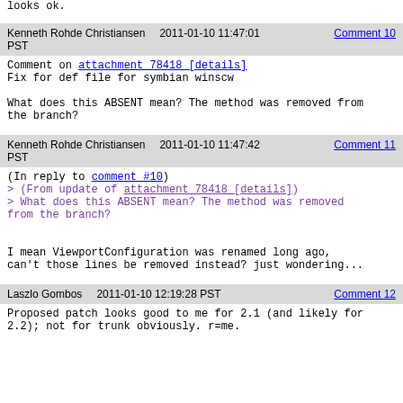looks ok.
| Kenneth Rohde Christiansen | 2011-01-10 11:47:01 PST | Comment 10 |
| --- | --- | --- |
Comment on attachment 78418 [details]
Fix for def file for symbian winscw

What does this ABSENT mean? The method was removed from the branch?
| Kenneth Rohde Christiansen | 2011-01-10 11:47:42 PST | Comment 11 |
| --- | --- | --- |
(In reply to comment #10)
> (From update of attachment 78418 [details])
> What does this ABSENT mean? The method was removed from the branch?

I mean ViewportConfiguration was renamed long ago, can't those lines be removed instead? just wondering...
| Laszlo Gombos | 2011-01-10 12:19:28 PST | Comment 12 |
| --- | --- | --- |
Proposed patch looks good to me for 2.1 (and likely for 2.2); not for trunk obviously. r=me.